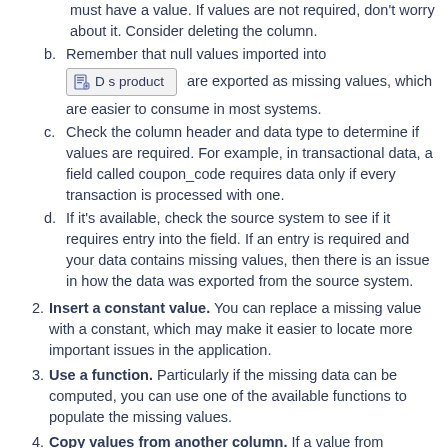must have a value. If values are not required, don't worry about it. Consider deleting the column.
b. Remember that null values imported into [Ds product widget] are exported as missing values, which are easier to consume in most systems.
c. Check the column header and data type to determine if values are required. For example, in transactional data, a field called coupon_code requires data only if every transaction is processed with one.
d. If it's available, check the source system to see if it requires entry into the field. If an entry is required and your data contains missing values, then there is an issue in how the data was exported from the source system.
2. Insert a constant value. You can replace a missing value with a constant, which may make it easier to locate more important issues in the application.
3. Use a function. Particularly if the missing data can be computed, you can use one of the available functions to populate the missing values.
4. Copy values from another column. If a value from